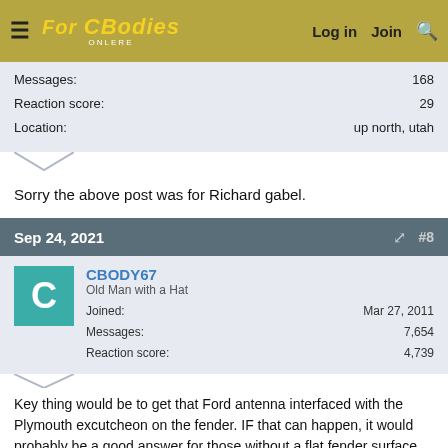For C Bodies Only | Log in | Join | Search
| Field | Value |
| --- | --- |
| Messages: | 168 |
| Reaction score: | 29 |
| Location: | up north, utah |
Sorry the above post was for Richard gabel.
Sep 24, 2021  #8
CBODY67
Old Man with a Hat
Joined: Mar 27, 2011
Messages: 7,654
Reaction score: 4,739
Key thing would be to get that Ford antenna interfaced with the Plymouth excutcheon on the fender. IF that can happen, it would probably be a good answer for those without a flat fender surface the antenna might mount onto?
Enjoy!